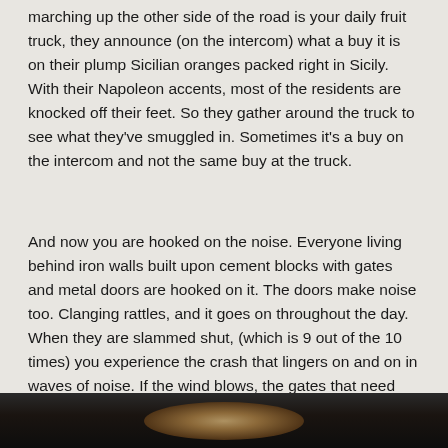marching up the other side of the road is your daily fruit truck, they announce (on the intercom) what a buy it is on their plump Sicilian oranges packed right in Sicily. With their Napoleon accents, most of the residents are knocked off their feet. So they gather around the truck to see what they've smuggled in. Sometimes it's a buy on the intercom and not the same buy at the truck.
And now you are hooked on the noise. Everyone living behind iron walls built upon cement blocks with gates and metal doors are hooked on it. The doors make noise too. Clanging rattles, and it goes on throughout the day. When they are slammed shut, (which is 9 out of the 10 times) you experience the crash that lingers on and on in waves of noise. If the wind blows, the gates that need servicing bang continuously back and forth.
[Figure (photo): Bottom portion of a photograph, dark image showing what appears to be a person, partially visible at the bottom of the page]